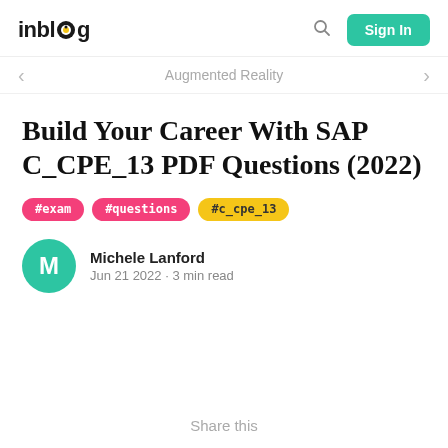inblog | Sign In
Augmented Reality
Build Your Career With SAP C_CPE_13 PDF Questions (2022)
#exam #questions #c_cpe_13
Michele Lanford
Jun 21 2022 · 3 min read
Share this